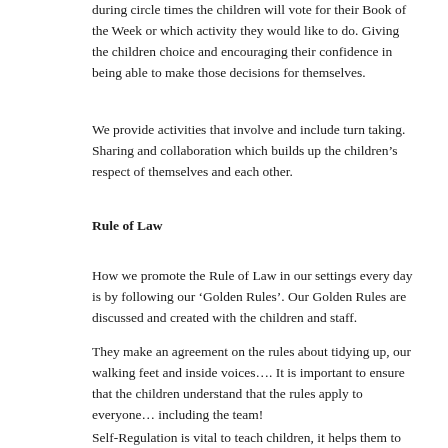ways in which we demonstrate democracy in action is during circle times the children will vote for their Book of the Week or which activity they would like to do. Giving the children choice and encouraging their confidence in being able to make those decisions for themselves.
We provide activities that involve and include turn taking. Sharing and collaboration which builds up the children's respect of themselves and each other.
Rule of Law
How we promote the Rule of Law in our settings every day is by following our 'Golden Rules'. Our Golden Rules are discussed and created with the children and staff.
They make an agreement on the rules about tidying up, our walking feet and inside voices…. It is important to ensure that the children understand that the rules apply to everyone… including the team!
Self-Regulation is vital to teach children, it helps them to